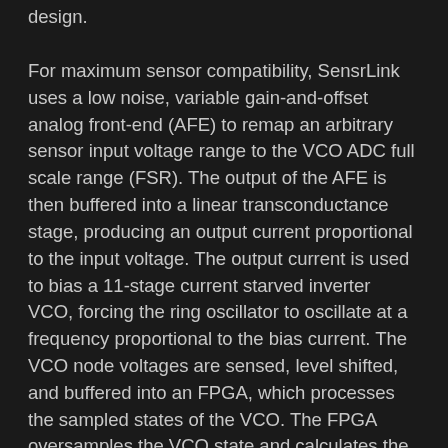design.
For maximum sensor compatibility, SensrLink uses a low noise, variable gain-and-offset analog front-end (AFE) to remap an arbitrary sensor input voltage range to the VCO ADC full scale range (FSR). The output of the AFE is then buffered into a linear transconductance stage, producing an output current proportional to the input voltage. The output current is used to bias a 11-stage current starved inverter VCO, forcing the ring oscillator to oscillate at a frequency proportional to the bias current. The VCO node voltages are sensed, level shifted, and buffered into an FPGA, which processes the sampled states of the VCO. The FPGA oversamples the VCO state and calculates the number of edge transitions since the last sampled state. These signals are then driven out to a digital logic analyzer, which saves the data for post-processing in MATLAB. MATLAB scripts decimate the output data while applying a filter to undo the